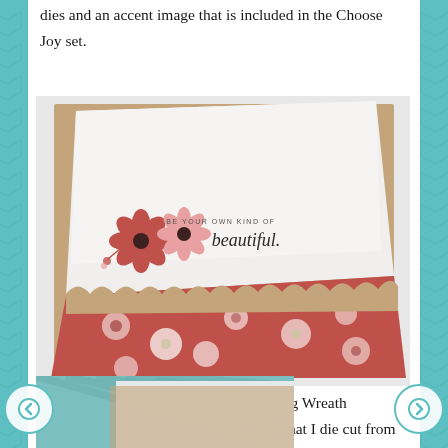dies and an accent image that is included in the Choose Joy set.
[Figure (photo): A handmade greeting card angled on a surface. The card has a white top portion with stamped flowers (red and pink) and the text 'be your own kind of beautiful' in script. The bottom portion features a red floral patterned paper (Twig Wreath) with white and pink flowers, topped by a kraft cardstock scalloped border.]
The bottom part of the card features Twig Wreath patterned paper and a scalloped border that I die cut from kraft cardstock.
[Figure (photo): Partial view of another handmade card with teal/blue striped patterned paper visible at the bottom of the page.]